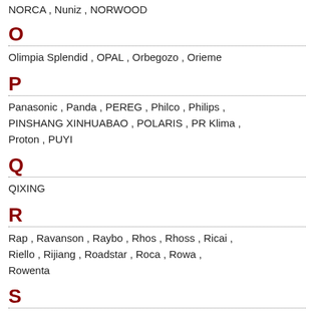NORCA , Nuniz , NORWOOD
O
Olimpia Splendid , OPAL , Orbegozo , Orieme
P
Panasonic , Panda , PEREG , Philco , Philips , PINSHANG XINHUABAO , POLARIS , PR Klima , Proton , PUYI
Q
QIXING
R
Rap , Ravanson , Raybo , Rhos , Rhoss , Ricai , Riello , Rijiang , Roadstar , Roca , Rowa , Rowenta
S
Salje Daekl , Sabre , Saean , Saece , Seije